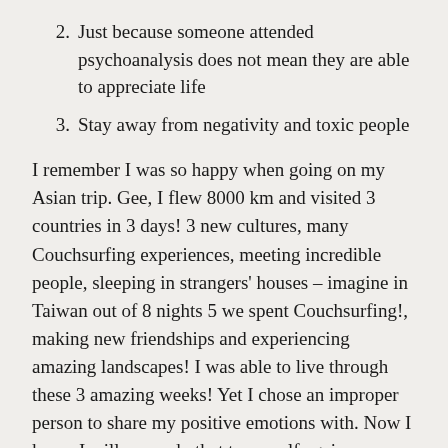2. Just because someone attended psychoanalysis does not mean they are able to appreciate life
3. Stay away from negativity and toxic people
I remember I was so happy when going on my Asian trip. Gee, I flew 8000 km and visited 3 countries in 3 days! 3 new cultures, many Couchsurfing experiences, meeting incredible people, sleeping in strangers' houses – imagine in Taiwan out of 8 nights 5 we spent Couchsurfing!, making new friendships and experiencing amazing landscapes! I was able to live through these 3 amazing weeks! Yet I chose an improper person to share my positive emotions with. Now I know I will never do that to myself again.